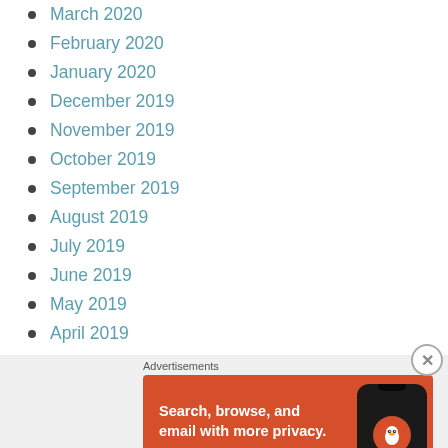March 2020
February 2020
January 2020
December 2019
November 2019
October 2019
September 2019
August 2019
July 2019
June 2019
May 2019
April 2019
Advertisements
[Figure (screenshot): DuckDuckGo advertisement banner with orange background showing a phone. Text reads: Search, browse, and email with more privacy. All in One Free App. DuckDuckGo.]